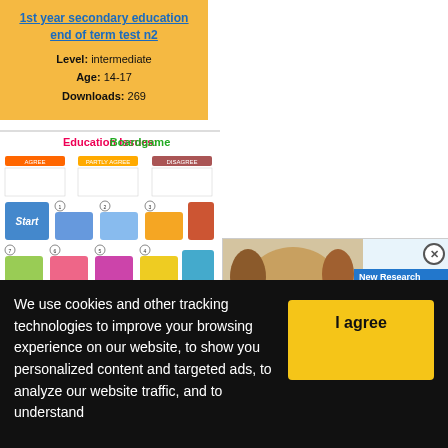1st year secondary education end of term test n2
Level: intermediate
Age: 14-17
Downloads: 269
[Figure (illustration): Education Issues Boardgame thumbnail showing a colorful board game layout with Start square and numbered squares with text]
[Figure (photo): Advertisement showing a Jack Russell terrier dog with text: New Research Suggests Dogs Can Distinguish Foreign Languages]
We use cookies and other tracking technologies to improve your browsing experience on our website, to show you personalized content and targeted ads, to analyze our website traffic, and to understand